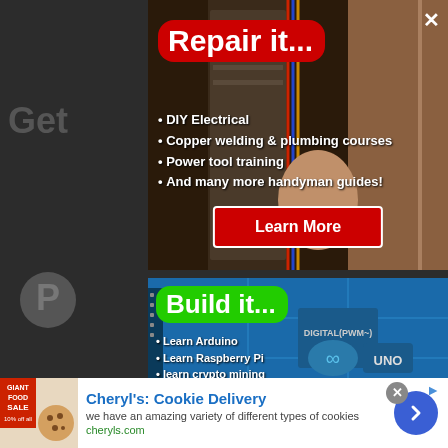[Figure (screenshot): Advertisement popup: 'Repair it...' DIY electrical and handyman courses with a red background title on electrical repair photo background. Contains list items: DIY Electrical, Copper welding & plumbing courses, Power tool training, And many more handyman guides! With a 'Learn More' red button.]
[Figure (screenshot): Advertisement: 'Build it...' with green title on Arduino circuit board photo background. Contains list items: Learn Arduino, Learn Raspberry Pi, learn crypto mining, Build a drone from scratch!]
[Figure (screenshot): Bottom banner ad for Cheryl's Cookie Delivery with cookie image, blue title text, description and cheryls.com URL, and blue circular arrow button.]